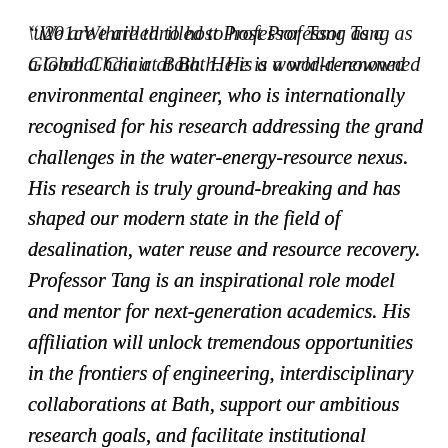“We are thrilled to host Professor Tang as a Global Chair at Bath. He is a world-renowned environmental engineer, who is internationally recognised for his research addressing the grand challenges in the water-energy-resource nexus. His research is truly ground-breaking and has shaped our modern state in the field of desalination, water reuse and resource recovery. Professor Tang is an inspirational role model and mentor for next-generation academics. His affiliation will unlock tremendous opportunities in the frontiers of engineering, interdisciplinary collaborations at Bath, support our ambitious research goals, and facilitate institutional partnership with The University of Hong Kong. We are very excited about Professor Tang’s